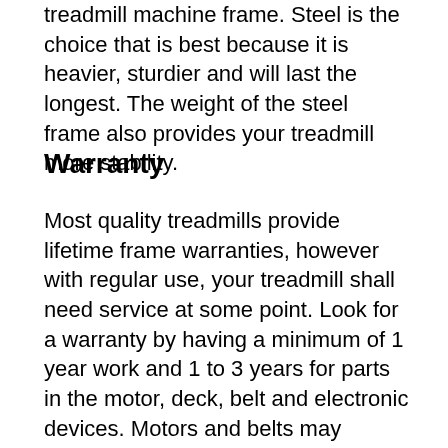treadmill machine frame. Steel is the choice that is best because it is heavier, sturdier and will last the longest. The weight of the steel frame also provides your treadmill more stability.
Warranty
Most quality treadmills provide lifetime frame warranties, however with regular use, your treadmill shall need service at some point. Look for a warranty by having a minimum of 1 year work and 1 to 3 years for parts in the motor, deck, belt and electronic devices. Motors and belts may require to be serviced by a technician. So make sure you buy your treadmill from company that provides accessibility to a technician. Also you live if you purchase your treadmill from the Internet, several manufacturers work with quality fitness service companies close to where.